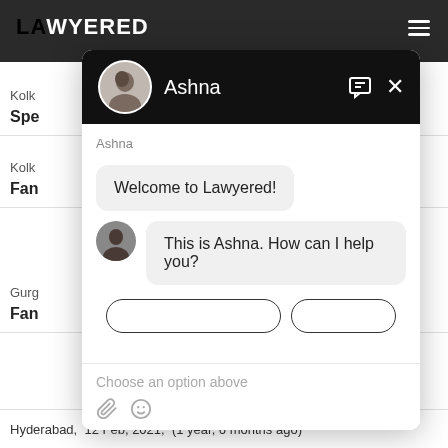LAWYERED
[Figure (screenshot): Chat widget overlay showing a conversation with Ashna on the Lawyered legal platform. Header shows avatar and name 'Ashna' with message and close icons on black background. Body shows 'Welcome to Lawyered!' bubble and 'This is Ashna. How can I help you?' bubble with avatar. Footer shows 'Choose an option above' placeholder and attachment/emoji icons.]
Kolk
Spe
Kolk
Fan
Gurg
Fan
Hyderabad,  12 Feb, 2021,  (1 year, 6 months ago)